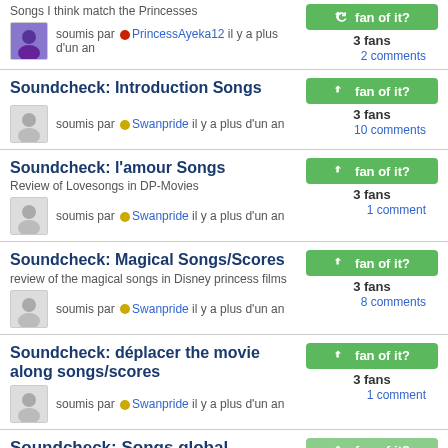Songs I think match the Princesses
soumis par PrincessAyeka12 il y a plus d'un an
3 fans
2 comments
Soundcheck: Introduction Songs
soumis par Swanpride il y a plus d'un an
3 fans
10 comments
Soundcheck: l'amour Songs
Review of Lovesongs in DP-Movies
soumis par Swanpride il y a plus d'un an
3 fans
1 comment
Soundcheck: Magical Songs/Scores
review of the magical songs in Disney princess films
soumis par Swanpride il y a plus d'un an
3 fans
8 comments
Soundcheck: déplacer the movie along songs/scores
soumis par Swanpride il y a plus d'un an
3 fans
1 comment
Soundcheck: Songs global, ensemble